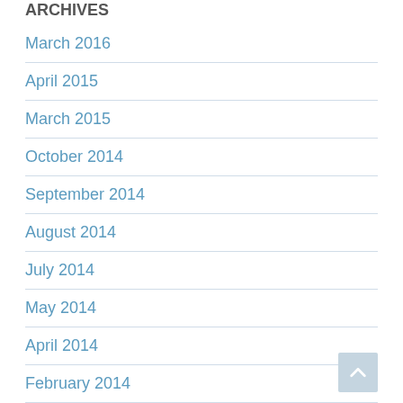ARCHIVES
March 2016
April 2015
March 2015
October 2014
September 2014
August 2014
July 2014
May 2014
April 2014
February 2014
January 2014
December 2013